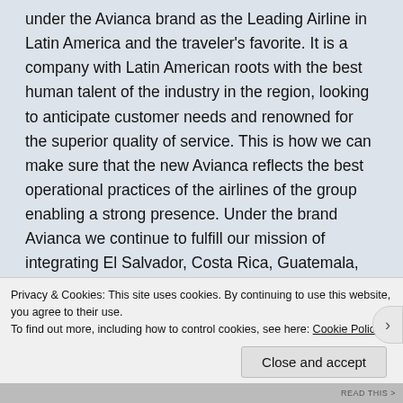under the Avianca brand as the Leading Airline in Latin America and the traveler's favorite. It is a company with Latin American roots with the best human talent of the industry in the region, looking to anticipate customer needs and renowned for the superior quality of service. This is how we can make sure that the new Avianca reflects the best operational practices of the airlines of the group enabling a strong presence. Under the brand Avianca we continue to fulfill our mission of integrating El Salvador, Costa Rica, Guatemala, Colombia, Peru, Ecuador, and the nations of the Americas with the world at large through commercial aviation, which has been the inspiration since the companies were founded. We offer travelers a service that is both
Privacy & Cookies: This site uses cookies. By continuing to use this website, you agree to their use.
To find out more, including how to control cookies, see here: Cookie Policy
Close and accept